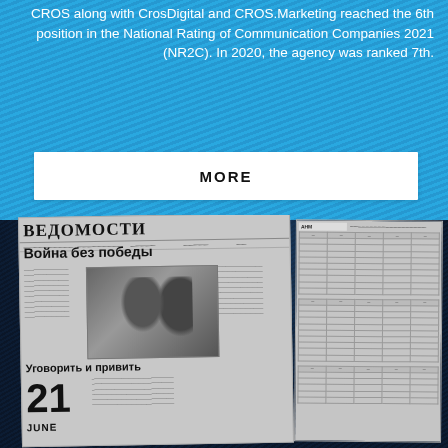CROS along with CrosDigital and CROS.Marketing reached the 6th position in the National Rating of Communication Companies 2021 (NR2C). In 2020, the agency was ranked 7th.
MORE
[Figure (photo): Newspaper front page showing 'Ведомости' masthead with headline 'Война без победы', a black-and-white photo of two men in suits, subheadline 'Уговорить и привитьь', date '21 JUNE', and data tables on the right page.]